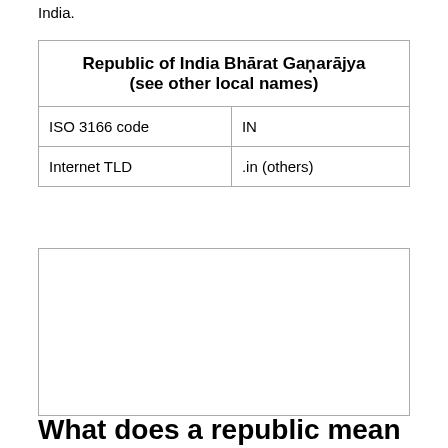India.
| Republic of India Bhārat Gaṇarājya (see other local names) |
| --- |
| ISO 3166 code | IN |
| Internet TLD | .in (others) |
[Figure (other): Image region (partially visible, bottom of page)]
What does a republic mean